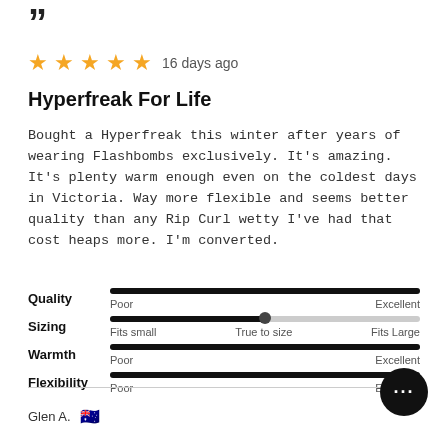"
★★★★★ 16 days ago
Hyperfreak For Life
Bought a Hyperfreak this winter after years of wearing Flashbombs exclusively. It's amazing. It's plenty warm enough even on the coldest days in Victoria. Way more flexible and seems better quality than any Rip Curl wetty I've had that cost heaps more. I'm converted.
Quality — Poor to Excellent (filled to max)
Sizing — Fits small / True to size / Fits Large (thumb at center)
Warmth — Poor to Excellent (filled to max)
Flexibility — Poor to Excellent (filled to max)
Glen A. 🇦🇺